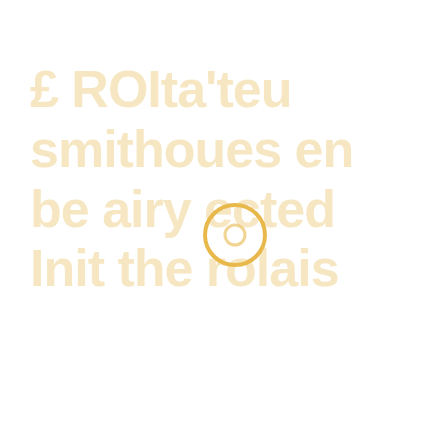£ ROIta'teu smithoues en be airy ected Init the rolais
[Figure (other): A loading spinner — a golden/yellow circle ring (stroke only, no fill) centered in the page, indicating a loading or pending state.]